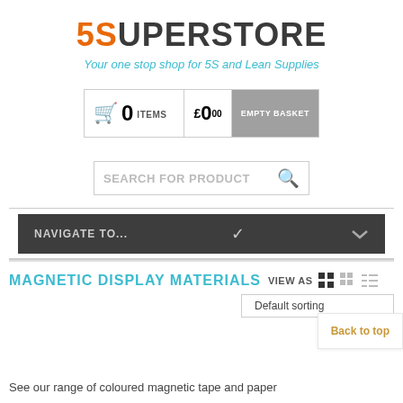5SUPERSTORE
Your one stop shop for 5S and Lean Supplies
[Figure (screenshot): Shopping basket bar showing cart icon, 0 ITEMS, £0.00, and EMPTY BASKET button]
[Figure (screenshot): Search bar with text SEARCH FOR PRODUCT and magnifying glass icon]
NAVIGATE TO...
MAGNETIC DISPLAY MATERIALS
VIEW AS
Default sorting
Back to top
See our range of coloured magnetic tape and paper